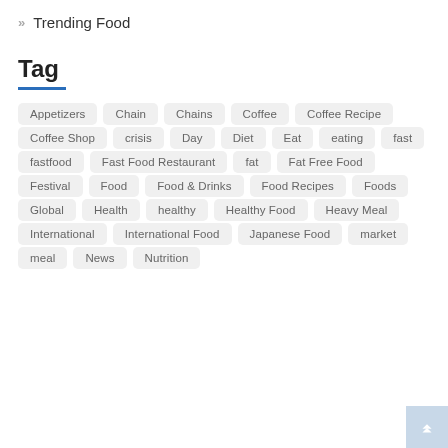» Trending Food
Tag
Appetizers
Chain
Chains
Coffee
Coffee Recipe
Coffee Shop
crisis
Day
Diet
Eat
eating
fast
fastfood
Fast Food Restaurant
fat
Fat Free Food
Festival
Food
Food & Drinks
Food Recipes
Foods
Global
Health
healthy
Healthy Food
Heavy Meal
International
International Food
Japanese Food
market
meal
News
Nutrition